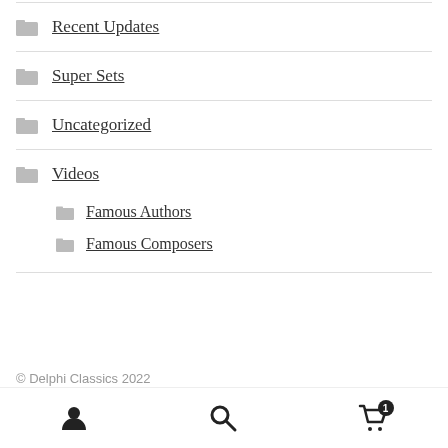Recent Updates
Super Sets
Uncategorized
Videos
Famous Authors
Famous Composers
© Delphi Classics 2022